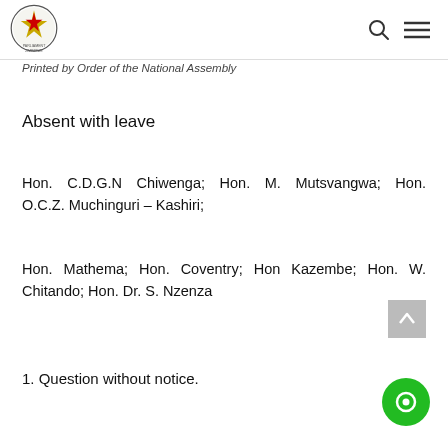Printed by Order of the National Assembly
Absent with leave
Hon. C.D.G.N Chiwenga; Hon. M. Mutsvangwa; Hon. O.C.Z. Muchinguri – Kashiri;
Hon. Mathema; Hon. Coventry; Hon Kazembe; Hon. W. Chitando; Hon. Dr. S. Nzenza
1. Question without notice.